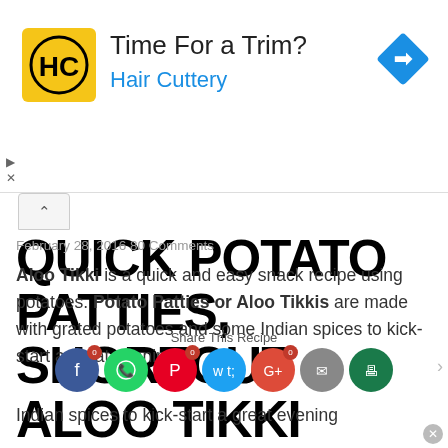[Figure (other): Hair Cuttery advertisement banner with yellow logo showing 'HC' text, ad title 'Time For a Trim?' and subtitle 'Hair Cuttery' in blue, blue diamond navigation icon on right]
QUICK POTATO PATTIES, SHORTCUT ALOO TIKKI RECIPE
February 28, 2016 80 Comments
Aloo Tikki is a quick and easy snack recipe using potatoes. Potato Patties or Aloo Tikkis are made with grated potatoes and some Indian spices to kick-start a great evening
[Figure (other): Share This Recipe social media icons bar with Facebook, WhatsApp, Pinterest, Twitter, Google+, Email, Print buttons with 0 share counts]
Indian spices to kick-start a great evening